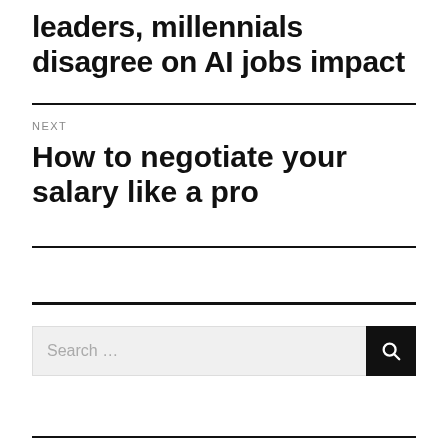leaders, millennials disagree on AI jobs impact
NEXT
How to negotiate your salary like a pro
[Figure (other): Search bar with text input field showing placeholder 'Search...' and a dark search button with magnifying glass icon]